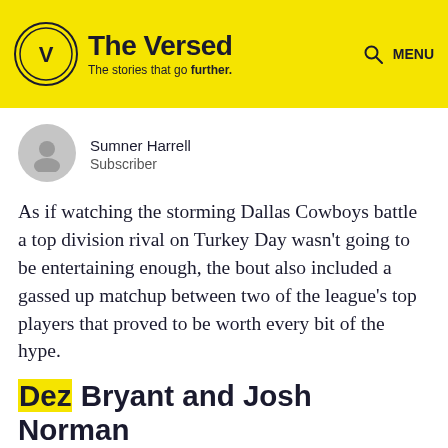The Versed — The stories that go further.
Sumner Harrell
Subscriber
As if watching the storming Dallas Cowboys battle a top division rival on Turkey Day wasn't going to be entertaining enough, the bout also included a gassed up matchup between two of the league's top players that proved to be worth every bit of the hype.
Dez Bryant and Josh Norman wishing each other a very happy Thanksgiving